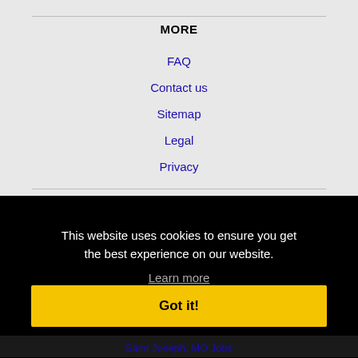MORE
FAQ
Contact us
Sitemap
Legal
Privacy
This website uses cookies to ensure you get the best experience on our website.
Learn more
Got it!
Saint Joseph, MO Jobs